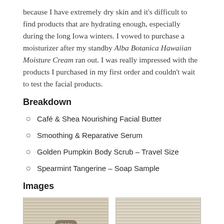because I have extremely dry skin and it's difficult to find products that are hydrating enough, especially during the long Iowa winters. I vowed to purchase a moisturizer after my standby Alba Botanica Hawaiian Moisture Cream ran out. I was really impressed with the products I purchased in my first order and couldn't wait to test the facial products.
Breakdown
Café & Shea Nourishing Facial Butter
Smoothing & Reparative Serum
Golden Pumpkin Body Scrub – Travel Size
Spearmint Tangerine – Soap Sample
Images
[Figure (photo): Two product images side by side showing soap/cream products with ribbed/striped texture and product labels]